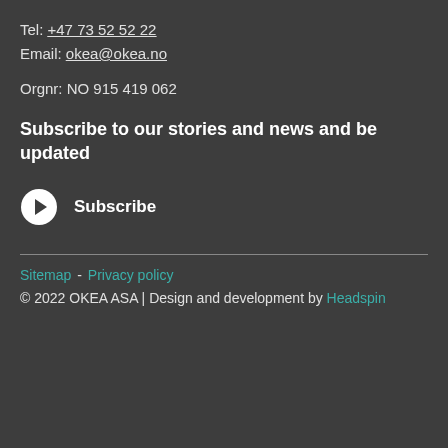Tel: +47 73 52 52 22
Email: okea@okea.no
Orgnr: NO 915 419 062
Subscribe to our stories and news and be updated
Subscribe
Sitemap - Privacy policy
© 2022 OKEA ASA | Design and development by Headspin